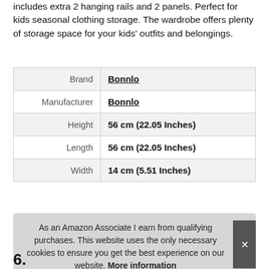includes extra 2 hanging rails and 2 panels. Perfect for kids seasonal clothing storage. The wardrobe offers plenty of storage space for your kids' outfits and belongings.
|  |  |
| --- | --- |
| Brand | Bonnlo |
| Manufacturer | Bonnlo |
| Height | 56 cm (22.05 Inches) |
| Length | 56 cm (22.05 Inches) |
| Width | 14 cm (5.51 Inches) |
More information
As an Amazon Associate I earn from qualifying purchases. This website uses the only necessary cookies to ensure you get the best experience on our website. More information
6.